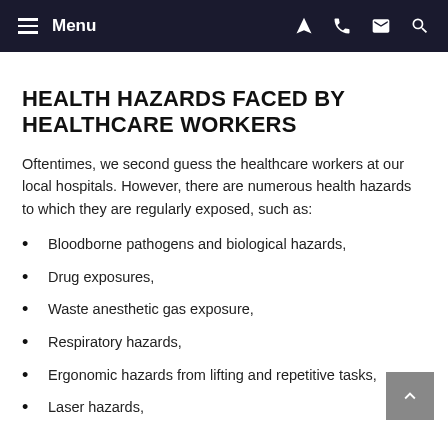Menu
HEALTH HAZARDS FACED BY HEALTHCARE WORKERS
Oftentimes, we second guess the healthcare workers at our local hospitals. However, there are numerous health hazards to which they are regularly exposed, such as:
Bloodborne pathogens and biological hazards,
Drug exposures,
Waste anesthetic gas exposure,
Respiratory hazards,
Ergonomic hazards from lifting and repetitive tasks,
Laser hazards,